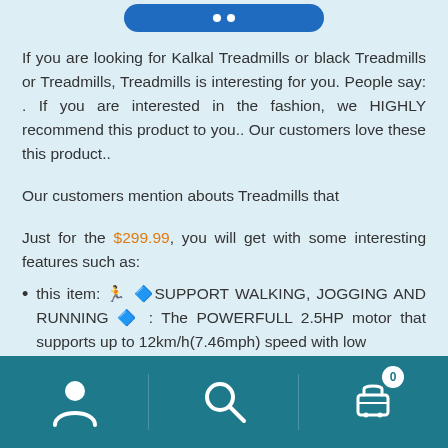[Figure (screenshot): Blue rounded button/banner with two white dots at top of page]
If you are looking for Kalkal Treadmills or black Treadmills or Treadmills, Treadmills is interesting for you. People say: . If you are interested in the fashion, we HIGHLY recommend this product to you.. Our customers love these this product..
Our customers mention abouts Treadmills that
Just for the $299.99, you will get with some interesting features such as:
this item: 🏃‍♀️🔷SUPPORT WALKING, JOGGING AND RUNNING 🔷 : The POWERFULL 2.5HP motor that supports up to 12km/h(7.46mph) speed with low
[Figure (screenshot): Bottom navigation bar with person icon, search icon, and cart icon with badge showing 0]